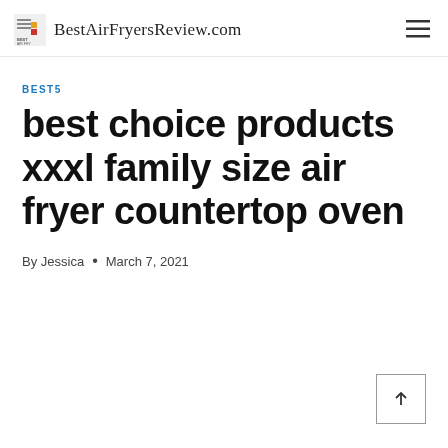BestAirFryersReview.com
BEST5
best choice products xxxl family size air fryer countertop oven
By Jessica • March 7, 2021